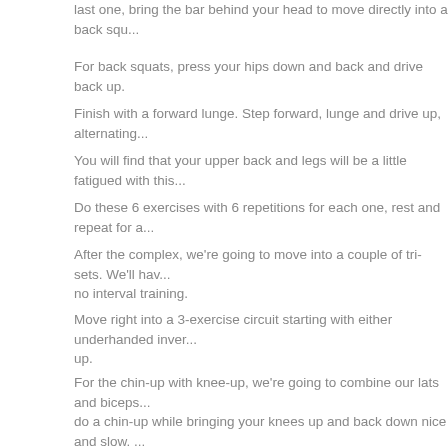last one, bring the bar behind your head to move directly into a back squ...
For back squats, press your hips down and back and drive back up.
Finish with a forward lunge. Step forward, lunge and drive up, alternating...
You will find that your upper back and legs will be a little fatigued with this...
Do these 6 exercises with 6 repetitions for each one, rest and repeat for a...
After the complex, we're going to move into a couple of tri-sets. We'll hav... no interval training.
Move right into a 3-exercise circuit starting with either underhanded inver... up.
For the chin-up with knee-up, we're going to combine our lats and biceps... do a chin-up while bringing your knees up and back down nice and slow. ... can do 10 of them, you will only do 8).
If you cannot do the chin-up with knee up, you can do underhanded inver... facing you and your body in a straight line, pull yourself up and slowly lov... exercise, but if you want to work your upper back a bit more, this will do t...
Next, move into spiderman climb pushups. These are the same as spider...